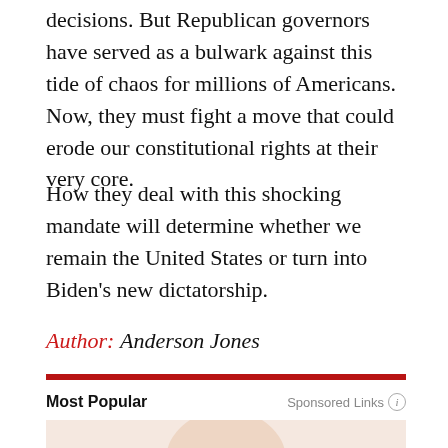decisions. But Republican governors have served as a bulwark against this tide of chaos for millions of Americans. Now, they must fight a move that could erode our constitutional rights at their very core.
How they deal with this shocking mandate will determine whether we remain the United States or turn into Biden’s new dictatorship.
Author: Anderson Jones
Most Popular
[Figure (photo): Image thumbnail below the Most Popular section header, showing a partial face on a light pink/peach background]